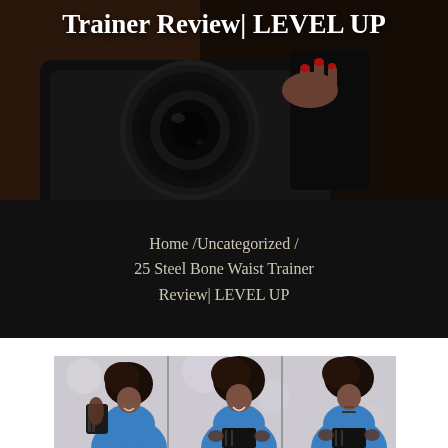[Figure (photo): Dark background hero image showing a camera with a large lens held by a person with red nails. Overlaid with bold white text title.]
Trainer Review| LEVEL UP
Home /Uncategorized / 25 Steel Bone Waist Trainer Review| LEVEL UP
[Figure (photo): Three side-by-side photos of a woman with a large afro wearing a blue swimsuit/bodysuit and a black waist trainer corset. In the first photo she holds an unrolled black waist trainer. In the second and third photos she wears the waist trainer around her midsection, posing with hands on hips.]